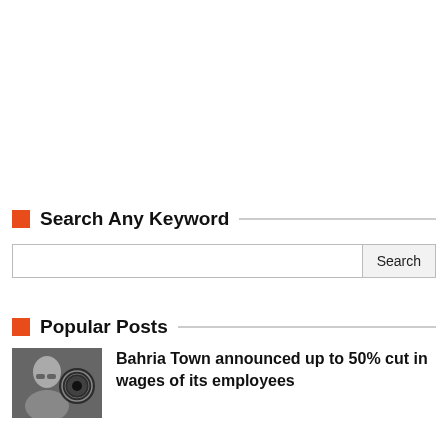Search Any Keyword
Search
Popular Posts
Bahria Town announced up to 50% cut in wages of its employees